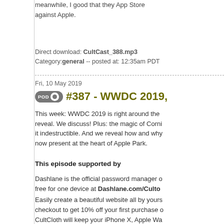meanwhile, I good that they App Store against Apple.
Direct download: CultCast_388.mp3
Category: general -- posted at: 12:35am PDT
Fri, 10 May 2019
#387 - WWDC 2019,
This week: WWDC 2019 is right around the reveal. We discuss! Plus: the magic of Corni it indestructible. And we reveal how and why now present at the heart of Apple Park.
This episode supported by
Dashlane is the official password manager o free for one device at Dashlane.com/Culto
Easily create a beautiful website all by yours checkout to get 10% off your first purchase o
CultCloth will keep your iPhone X, Apple Wa CULTCAST at checkout to score a free Clea
On the show this week
@erfon / @lewiswallace
This week's stories
Order Leander's new book, signed!
Apple to Reveal New Home-Grown Apps,